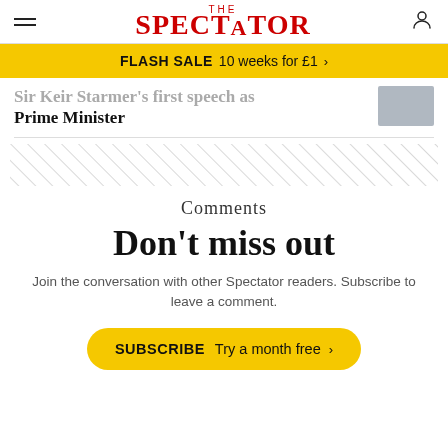THE SPECTATOR
FLASH SALE  10 weeks for £1  >
Prime Minister
Comments
Don't miss out
Join the conversation with other Spectator readers. Subscribe to leave a comment.
SUBSCRIBE  Try a month free  >